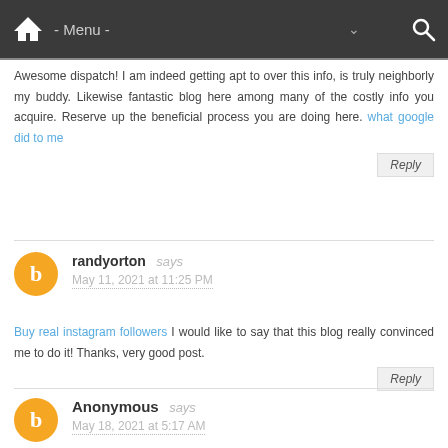- Menu -
Awesome dispatch! I am indeed getting apt to over this info, is truly neighborly my buddy. Likewise fantastic blog here among many of the costly info you acquire. Reserve up the beneficial process you are doing here. what google did to me
randyorton says
May 11, 2021 at 11:25 PM
Buy real instagram followers I would like to say that this blog really convinced me to do it! Thanks, very good post.
Anonymous says
May 18, 2021 at 5:17 AM